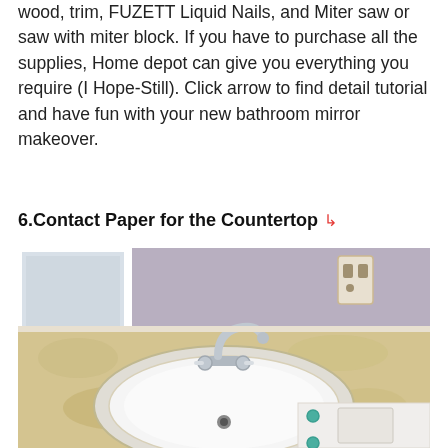wood, trim, FUZETT Liquid Nails, and Miter saw or saw with miter block. If you have to purchase all the supplies, Home depot can give you everything you require (I Hope-Still). Click arrow to find detail tutorial and have fun with your new bathroom mirror makeover.
6.Contact Paper for the Countertop ↳
[Figure (photo): Bathroom vanity countertop covered with contact paper in a beige/marble pattern, with a white oval sink and chrome faucet, white cabinet with teal knobs, and mirror on the wall.]